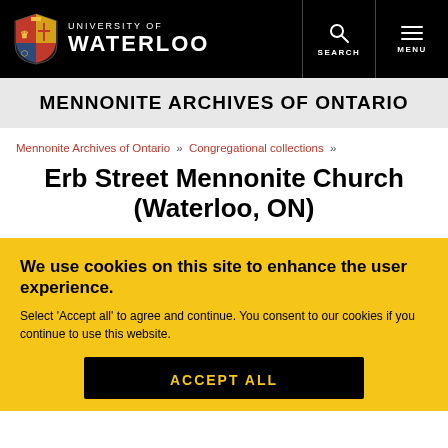[Figure (logo): University of Waterloo logo with shield and text]
MENNONITE ARCHIVES OF ONTARIO
Mennonite Archives of Ontario » Congregational collections »
Erb Street Mennonite Church (Waterloo, ON)
We use cookies on this site to enhance the user experience.
Select 'Accept all' to agree and continue. You consent to our cookies if you continue to use this website.
ACCEPT ALL